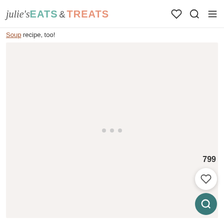julie's EATS & TREATS
Soup recipe, too!
[Figure (other): Large light gray placeholder content area with three loading dots in the center]
799
[Figure (other): White circular heart/save button]
[Figure (other): Teal circular search button]